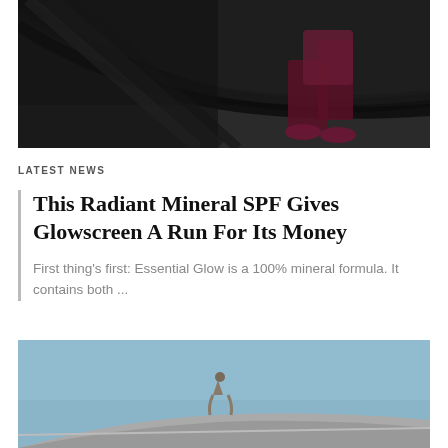[Figure (photo): Woman in magenta/purple workout clothes performing battle rope exercise in a dark gym setting]
LATEST NEWS
This Radiant Mineral SPF Gives Glowscreen A Run For Its Money
First thing's first: Essential Glow is a 100% mineral formula. It contains both ...
[Figure (photo): Outdoor architectural scene with a curved building and a figure/statue visible against a blue-grey sky]